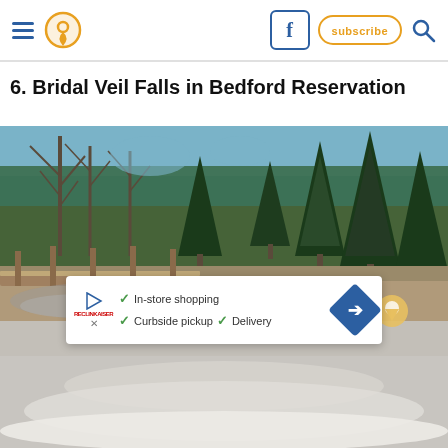Navigation header with hamburger menu, location pin icon, Facebook icon, subscribe button, search icon
6. Bridal Veil Falls in Bedford Reservation
[Figure (photo): Outdoor nature photo showing a wooded area with tall evergreen and deciduous trees, a wooden footbridge, rocky stream, and snowy ground in the foreground at Bridal Veil Falls in Bedford Reservation]
[Figure (other): Advertisement overlay showing In-store shopping, Curbside pickup, and Delivery options with checkmarks, a brand logo, and a blue diamond directional arrow icon]